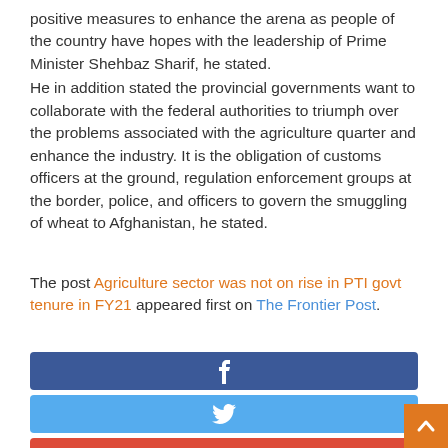positive measures to enhance the arena as people of the country have hopes with the leadership of Prime Minister Shehbaz Sharif, he stated.
He in addition stated the provincial governments want to collaborate with the federal authorities to triumph over the problems associated with the agriculture quarter and enhance the industry. It is the obligation of customs officers at the ground, regulation enforcement groups at the border, police, and officers to govern the smuggling of wheat to Afghanistan, he stated.
The post Agriculture sector was not on rise in PTI govt tenure in FY21 appeared first on The Frontier Post.
[Figure (other): Social media share buttons: Facebook (dark blue), Twitter (light blue), Google+ (red), with orange back-to-top arrow button at bottom right]